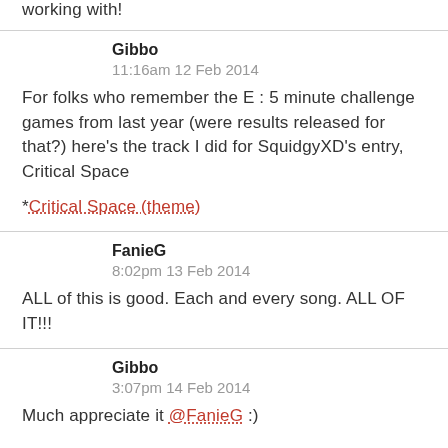working with!
Gibbo
11:16am 12 Feb 2014
For folks who remember the E : 5 minute challenge games from last year (were results released for that?) here's the track I did for SquidgyXD's entry, Critical Space
*Critical Space (theme)
FanieG
8:02pm 13 Feb 2014
ALL of this is good. Each and every song. ALL OF IT!!!
Gibbo
3:07pm 14 Feb 2014
Much appreciate it @FanieG :)

Moar: